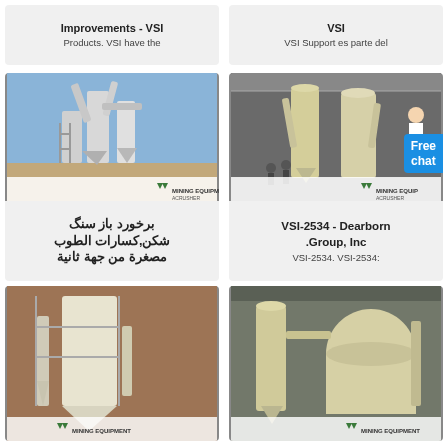Improvements - VSI
Products. VSI have the
VSI
VSI Support es parte del
[Figure (photo): Industrial mining equipment - vertical shaft impactor machine outdoors with pipes and structures, branded MINING EQUIPMENT ACRUSHER]
برخورد باز سنگ شکن,کسارات الطوب مصغرة من جهة ثانية
[Figure (photo): Industrial grinding/milling equipment indoors in factory, branded MINING EQUIPMENT ACRUSHER, with Free chat badge overlay]
VSI-2534 - Dearborn Group, Inc
VSI-2534. VSI-2534:
[Figure (photo): Industrial mining equipment outdoors, branded MINING EQUIPMENT]
[Figure (photo): Industrial grinding/milling equipment with large tank, branded MINING EQUIPMENT]